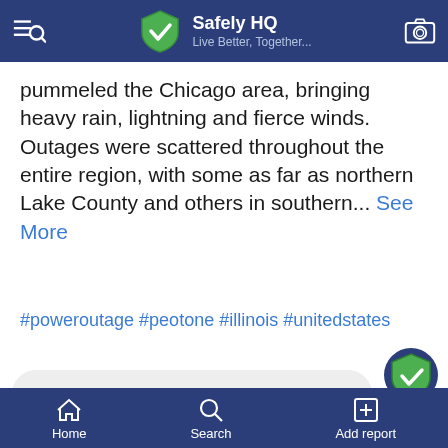Safely HQ — Live Better, Together...
pummeled the Chicago area, bringing heavy rain, lightning and fierce winds. Outages were scattered throughout the entire region, with some as far as northern Lake County and others in southern... See More
#poweroutage #peotone #illinois #unitedstates
[Figure (screenshot): Action buttons row: Helpful (thumbs up icon), Add report (plus square icon), Follow (heart icon), Share (forward arrow icon)]
Write a comment...
Home  Search  Add report